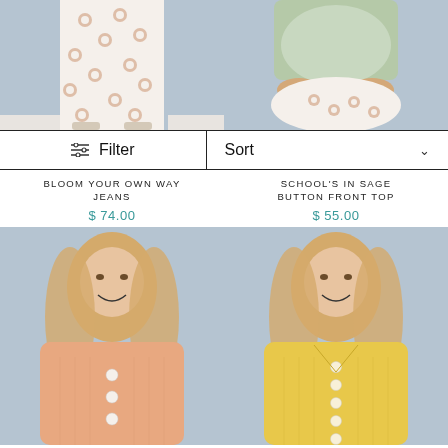[Figure (photo): Woman wearing floral printed wide-leg jeans against a blue-gray background]
[Figure (photo): Woman in sage green button front top with floral printed pants sitting, against blue-gray background]
Filter
Sort
BLOOM YOUR OWN WAY JEANS
$ 74.00
SCHOOL'S IN SAGE BUTTON FRONT TOP
$ 55.00
[Figure (photo): Young blonde woman smiling wearing a peach/salmon knit button-front top against blue-gray background]
[Figure (photo): Young blonde woman smiling wearing a yellow knit button-front cardigan against blue-gray background]